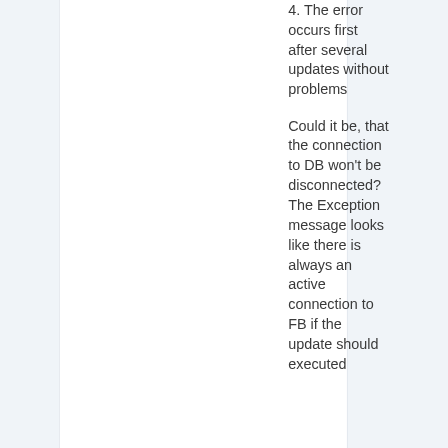4. The error occurs first after several updates without problems
Could it be, that the connection to DB won't be disconnected? The Exception message looks like there is always an active connection to FB if the update should executed